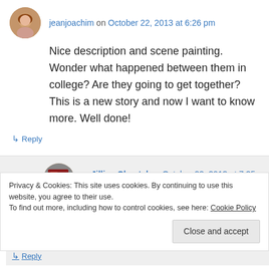jeanjoachim on October 22, 2013 at 6:26 pm
Nice description and scene painting. Wonder what happened between them in college? Are they going to get together? This is a new story and now I want to know more. Well done!
↳ Reply
Jillian Chantal on October 22, 2013 at 7:25 pm
Privacy & Cookies: This site uses cookies. By continuing to use this website, you agree to their use.
To find out more, including how to control cookies, see here: Cookie Policy
Close and accept
↳ Reply